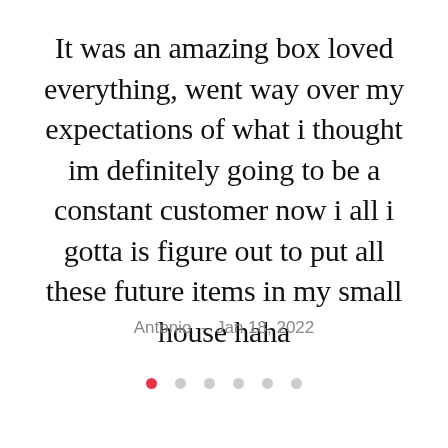It was an amazing box loved everything, went way over my expectations of what i thought im definitely going to be a constant customer now i all i gotta is figure out to put all these future items in my small house haha
Antonio - Jan 18, 2022
[Figure (other): Pagination dots: 6 dots, first one filled red, rest gray]